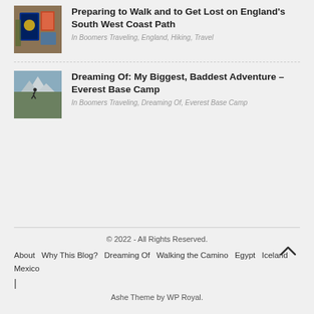[Figure (photo): Thumbnail of travel documents including passport and maps]
Preparing to Walk and to Get Lost on England's South West Coast Path
In Boomers Traveling, England, Hiking, Travel
[Figure (photo): Thumbnail of mountain landscape, likely Everest region with hiker silhouette]
Dreaming Of: My Biggest, Baddest Adventure – Everest Base Camp
In Boomers Traveling, Dreaming Of, Everest Base Camp
© 2022 - All Rights Reserved. About  Why This Blog?  Dreaming Of  Walking the Camino  Egypt  Iceland  Mexico | Ashe Theme by WP Royal.